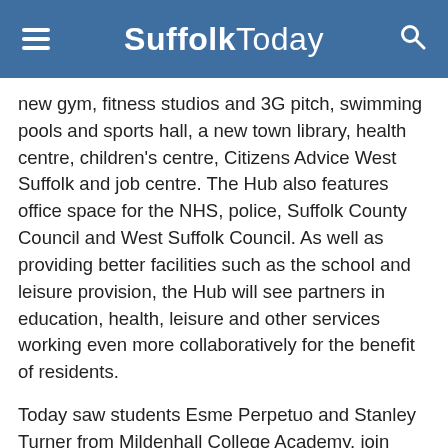Suffolk Today
new gym, fitness studios and 3G pitch, swimming pools and sports hall, a new town library, health centre, children's centre, Citizens Advice West Suffolk and job centre. The Hub also features office space for the NHS, police, Suffolk County Council and West Suffolk Council. As well as providing better facilities such as the school and leisure provision, the Hub will see partners in education, health, leisure and other services working even more collaboratively for the benefit of residents.
Today saw students Esme Perpetuo and Stanley Turner from Mildenhall College Academy, join Clara Sore and Jaxon Lerman from Little Treasures nursery, and Sonal Balrey, a Mildenhall Library customer, join three Abbeycroft Leisure users to